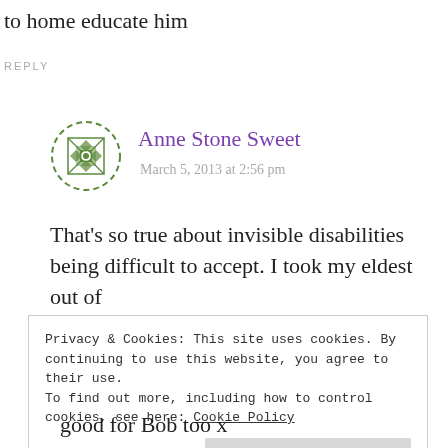to home educate him
REPLY
Anne Stone Sweet
March 5, 2013 at 2:56 pm
That's so true about invisible disabilities being difficult to accept. I took my eldest out of
Privacy & Cookies: This site uses cookies. By continuing to use this website, you agree to their use.
To find out more, including how to control cookies, see here: Cookie Policy
Close and accept
good for Bob too x